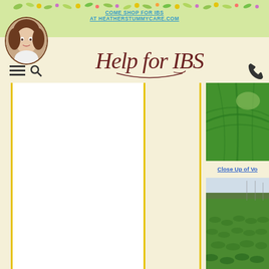COME SHOP FOR IBS AT HEATHERSTUMMYCARE.COM
[Figure (logo): Help for IBS cursive logo text]
[Figure (photo): Close-up photo of a green leaf]
Close Up of Vo
[Figure (photo): Wide field of green crops with sky]